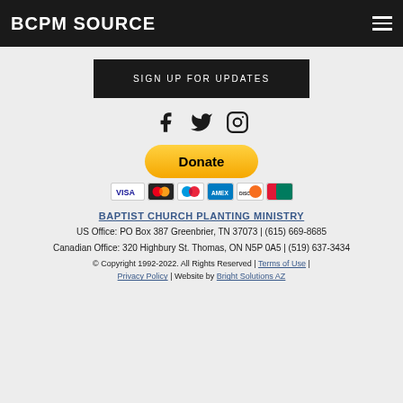BCPM SOURCE
SIGN UP FOR UPDATES
[Figure (illustration): Facebook, Twitter, and Instagram social media icons]
[Figure (illustration): PayPal Donate button with credit card icons (Visa, Mastercard, AMEX, Discover, UnionPay)]
BAPTIST CHURCH PLANTING MINISTRY
US Office: PO Box 387 Greenbrier, TN 37073 | (615) 669-8685
Canadian Office: 320 Highbury St. Thomas, ON N5P 0A5 | (519) 637-3434
© Copyright 1992-2022. All Rights Reserved | Terms of Use | Privacy Policy | Website by Bright Solutions AZ